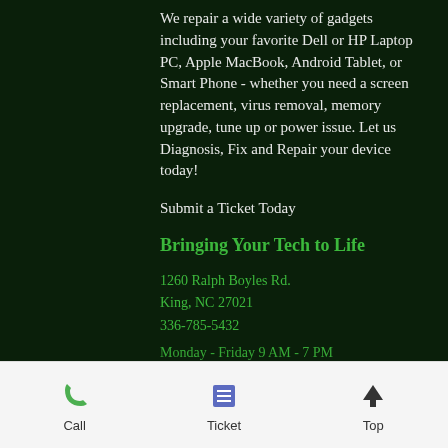We repair a wide variety of gadgets including your favorite Dell or HP Laptop PC, Apple MacBook, Android Tablet, or Smart Phone - whether you need a screen replacement, virus removal, memory upgrade, tune up or power issue. Let us Diagnosis, Fix and Repair your device today!
Submit a Ticket Today
Bringing Your Tech to Life
1260 Ralph Boyles Rd.
King, NC 27021
336-785-5432
Monday - Friday 9 AM - 7 PM
Call  Ticket  Top